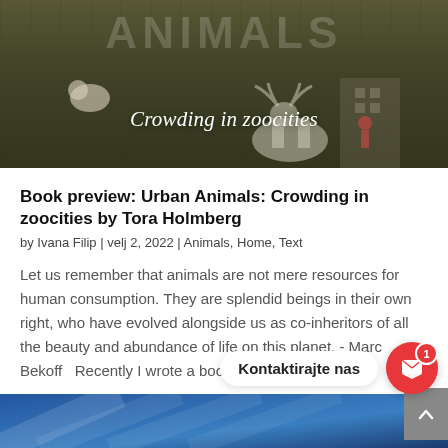[Figure (photo): Banner image showing urban animals scene with overlay text 'Crowding in zoocities' and partial title text at top]
Book preview: Urban Animals: Crowding in zoocities by Tora Holmberg
by Ivana Filip | velj 2, 2022 | Animals, Home, Text
Let us remember that animals are not mere resources for human consumption. They are splendid beings in their own right, who have evolved alongside us as co-inheritors of all the beauty and abundance of life on this planet. - Marc Bekoff   Recently I wrote a book...
READ MORE
Kontaktirajte nas
[Figure (photo): Blue geometric pattern footer image]